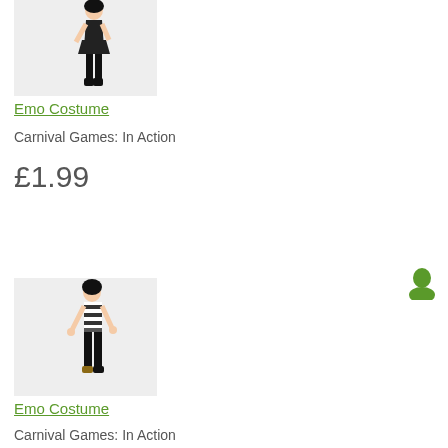[Figure (illustration): 3D avatar character in black emo costume - female figure with black dress and boots, viewed from behind/side angle, on light gray background]
Emo Costume
Carnival Games: In Action
£1.99
[Figure (illustration): Small green Xbox avatar profile icon silhouette]
[Figure (illustration): 3D avatar character in emo costume - figure wearing black and white striped shirt and black pants, viewed from side angle, on light gray background]
Emo Costume
Carnival Games: In Action